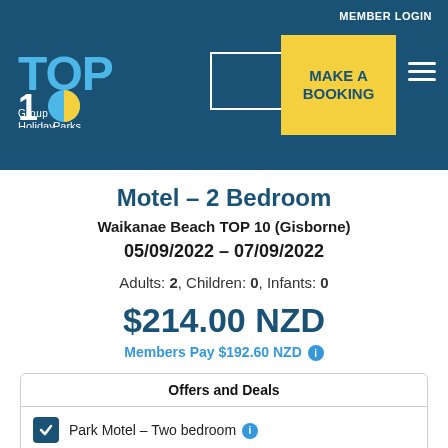MEMBER LOGIN
[Figure (logo): TOP 10 Holiday Parks Group logo]
[Figure (illustration): Shopping cart icon button]
[Figure (illustration): MAKE A BOOKING yellow button]
[Figure (illustration): Hamburger menu icon]
Motel – 2 Bedroom
Waikanae Beach TOP 10 (Gisborne)
05/09/2022 – 07/09/2022
Adults: 2, Children: 0, Infants: 0
$214.00 NZD
Members Pay $192.60 NZD
Offers and Deals
Park Motel – Two bedroom